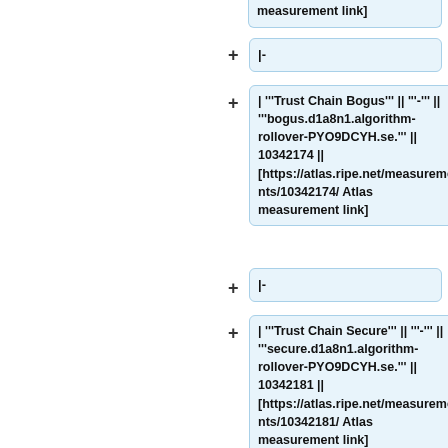measurement link]
|-
| '''Trust Chain Bogus''' || '''-''' || '''bogus.d1a8n1.algorithm-rollover-PYO9DCYH.se.''' || 10342174 || [https://atlas.ripe.net/measurements/10342174/ Atlas measurement link]
|-
| '''Trust Chain Secure''' || '''-''' || '''secure.d1a8n1.algorithm-rollover-PYO9DCYH.se.''' || 10342181 || [https://atlas.ripe.net/measurements/10342181/ Atlas measurement link]
|-
| '''Trust Chain Bogus''' || '''-''' || '''bogus.d1a8n1.algorithm-rollover-JUHOB8DK.se.''' ||